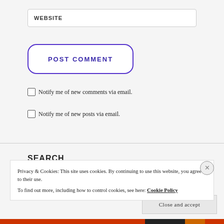WEBSITE
POST COMMENT
Notify me of new comments via email.
Notify me of new posts via email.
SEARCH
Privacy & Cookies: This site uses cookies. By continuing to use this website, you agree to their use.
To find out more, including how to control cookies, see here: Cookie Policy
Close and accept